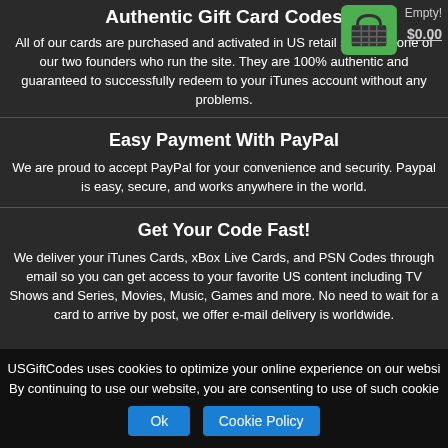Authentic Gift Card Codes
All of our cards are purchased and activated in US retail stores by one of our two founders who run the site. They are 100% authentic and guaranteed to successfully redeem to your iTunes account without any problems.
Easy Payment With PayPal
We are proud to accept PayPal for your convenience and security. Paypal is easy, secure, and works anywhere in the world.
Get Your Code Fast!
We deliver your iTunes Cards, xBox Live Cards, and PSN Codes through email so you can get access to your favorite US content including TV Shows and Series, Movies, Music, Games and more. No need to wait for a card to arrive by post, we offer e-mail delivery is worldwide.
USGiftCodes uses cookies to optimize your online experience on our websi By continuing to use our website, you are consenting to use of such cookie
Ok
Cookie Policy